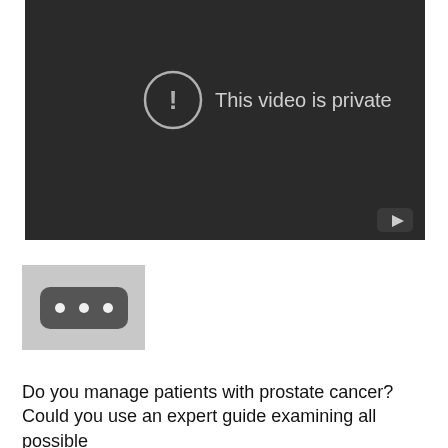[Figure (screenshot): YouTube video player showing 'This video is private' message with an exclamation mark icon in a circle. Dark background with YouTube logo button in bottom right corner.]
[Figure (screenshot): Small thumbnail image with light gray background showing a dark rounded rectangle with three white dots (ellipsis), resembling a YouTube video thumbnail placeholder.]
Do you manage patients with prostate cancer? Could you use an expert guide examining all possible